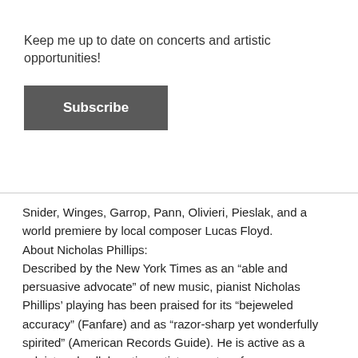Keep me up to date on concerts and artistic opportunities!
Subscribe
Snider, Winges, Garrop, Pann, Olivieri, Pieslak, and a world premiere by local composer Lucas Floyd. About Nicholas Phillips: Described by the New York Times as an “able and persuasive advocate” of new music, pianist Nicholas Phillips’ playing has been praised for its “bejeweled accuracy” (Fanfare) and as “razor-sharp yet wonderfully spirited” (American Records Guide). He is active as a soloist and collaborative artist; recent performances include solo recitals in Lithuania, Korea, and Argentina, as well as dozens of states across the U.S., and an invited performance at the Croatian Embassy in Washington, D.C. Phillips has given lecture recitals and presentations at